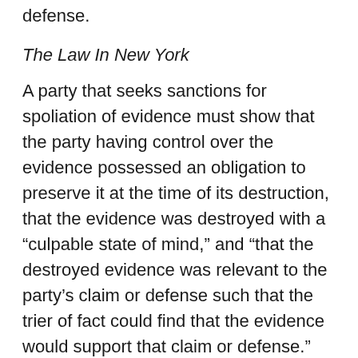defense.
The Law In New York
A party that seeks sanctions for spoliation of evidence must show that the party having control over the evidence possessed an obligation to preserve it at the time of its destruction, that the evidence was destroyed with a “culpable state of mind,” and “that the destroyed evidence was relevant to the party’s claim or defense such that the trier of fact could find that the evidence would support that claim or defense.” Voom HD Holdings LLC v. Echostar Satellite L.L.C., 93 A.D.3d 33, 45 (1st Dept. 2012) (quoting Zubulake v. UBS Warburg LLC,